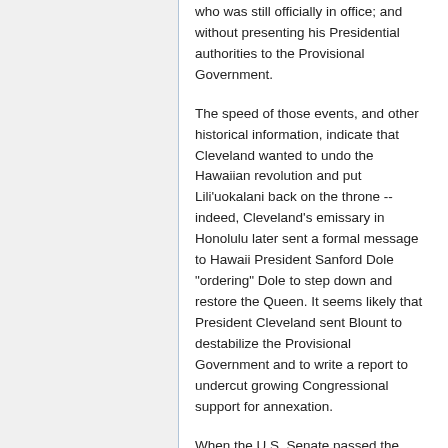who was still officially in office; and without presenting his Presidential authorities to the Provisional Government.
The speed of those events, and other historical information, indicate that Cleveland wanted to undo the Hawaiian revolution and put Lili'uokalani back on the throne -- indeed, Cleveland's emissary in Honolulu later sent a formal message to Hawaii President Sanford Dole "ordering" Dole to step down and restore the Queen. It seems likely that President Cleveland sent Blount to destabilize the Provisional Government and to write a report to undercut growing Congressional support for annexation.
When the U.S. Senate passed the Apology Resolution in 1993, it did so without any hearings, based on a single